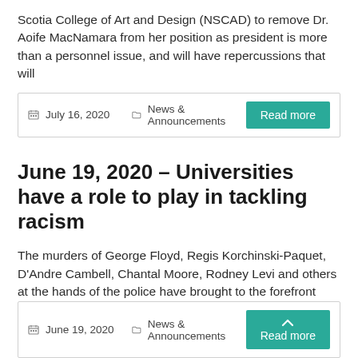Scotia College of Art and Design (NSCAD) to remove Dr. Aoife MacNamara from her position as president is more than a personnel issue, and will have repercussions that will
July 16, 2020   News & Announcements   Read more
June 19, 2020 – Universities have a role to play in tackling racism
The murders of George Floyd, Regis Korchinski-Paquet, D'Andre Cambell, Chantal Moore, Rodney Levi and others at the hands of the police have brought to the forefront once again the systemic racism against Black and Indigenous people in North America. We
June 19, 2020   News & Announcements   Read more